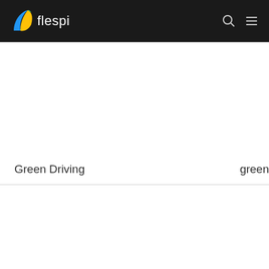flespi
Green Driving
green
Phone Numbers
gsm_